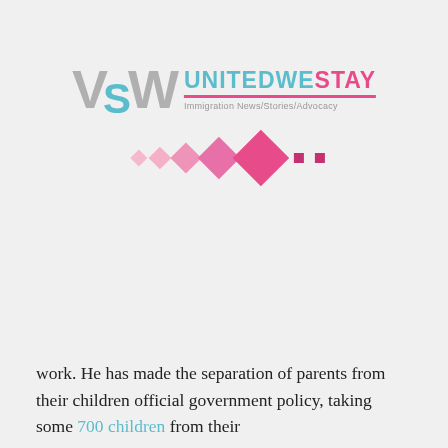[Figure (logo): United We Stay logo with stylized V S W letters in gray and teal, text 'UNITED WE STAY' in teal and pink, pink underline bar, tagline 'Immigration News/Stories/Advocacy', followed by a row of pink diamond/square shapes of increasing size]
work. He has made the separation of parents from their children official government policy, taking some 700 children from their